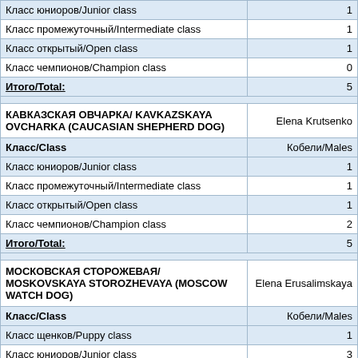| Класс/Class | Кобели/Males |
| --- | --- |
| Класс юниоров/Junior class | 1 |
| Класс промежуточный/Intermediate class | 1 |
| Класс открытый/Open class | 1 |
| Класс чемпионов/Champion class | 0 |
| Итого/Total: | 5 |
| (spacer) |  |
| КАВКАЗСКАЯ ОВЧАРКА/ KAVKAZSKAYA OVCHARKA (CAUCASIAN SHEPHERD DOG) | Elena Krutsenko |
| Класс/Class | Кобели/Males |
| Класс юниоров/Junior class | 1 |
| Класс промежуточный/Intermediate class | 1 |
| Класс открытый/Open class | 1 |
| Класс чемпионов/Champion class | 2 |
| Итого/Total: | 5 |
| (spacer) |  |
| МОСКОВСКАЯ СТОРОЖЕВАЯ/ MOSKOVSKAYA STOROZHEVAYA (MOSCOW WATCH DOG) | Elena Erusalimskaya |
| Класс/Class | Кобели/Males |
| Класс щенков/Puppy class | 1 |
| Класс юниоров/Junior class | 3 |
| Класс промежуточный/Intermediate class | 2 |